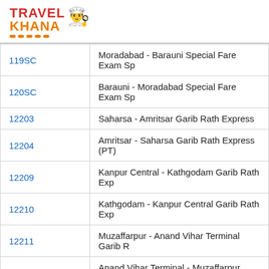[Figure (logo): TravelKhana logo with chef hat icon, red TRAVEL text and orange KHANA text with orange dot underline]
| Train No. | Train Name |
| --- | --- |
| 119SC | Moradabad - Barauni Special Fare Exam Sp |
| 120SC | Barauni - Moradabad Special Fare Exam Sp |
| 12203 | Saharsa - Amritsar Garib Rath Express |
| 12204 | Amritsar - Saharsa Garib Rath Express (PT) |
| 12209 | Kanpur Central - Kathgodam Garib Rath Exp |
| 12210 | Kathgodam - Kanpur Central Garib Rath Exp |
| 12211 | Muzaffarpur - Anand Vihar Terminal Garib R |
| 12212 | Anand Vihar Terminal - Muzaffarpur Garib R |
| 12229 | Lucknow Mail (PT) |
| 12230 | Lucknow Mail (PT) |